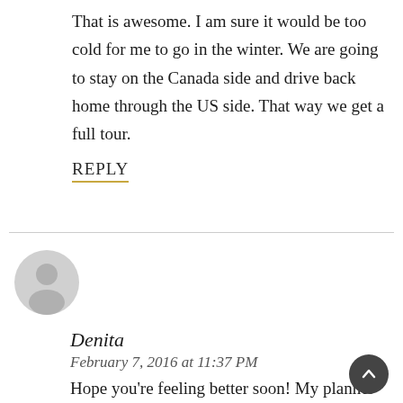That is awesome. I am sure it would be too cold for me to go in the winter. We are going to stay on the Canada side and drive back home through the US side. That way we get a full tour.
REPLY
[Figure (illustration): Generic user avatar icon — grey circle with a person silhouette]
Denita
February 7, 2016 at 11:37 PM
Hope you're feeling better soon! My planner has helped me a lot this year to get organized and be a better time...